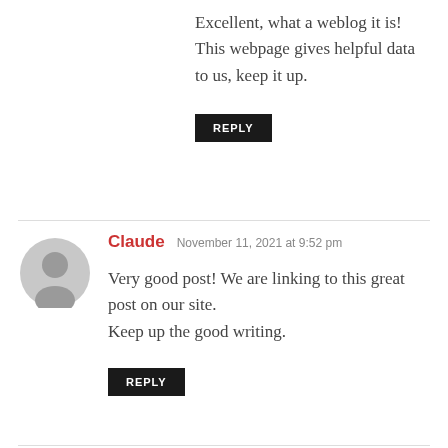Excellent, what a weblog it is! This webpage gives helpful data to us, keep it up.
REPLY
Claude  November 11, 2021 at 9:52 pm
Very good post! We are linking to this great post on our site.
Keep up the good writing.
REPLY